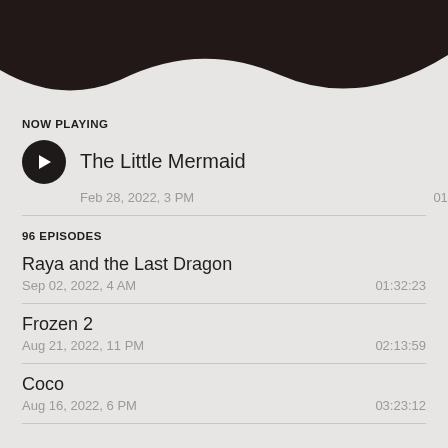[Figure (illustration): Dark brown wave shape at the top of the screen, decorative UI element]
NOW PLAYING
The Little Mermaid
Feb 28, 2022, 3 PM
01:57:04
96 EPISODES
Raya and the Last Dragon
Sep 02, 2022, 4 AM
01:32:23
Frozen 2
Aug 21, 2022, 11 PM
02:13:59
Coco
Aug 16, 2022, 6 PM
03:23:12